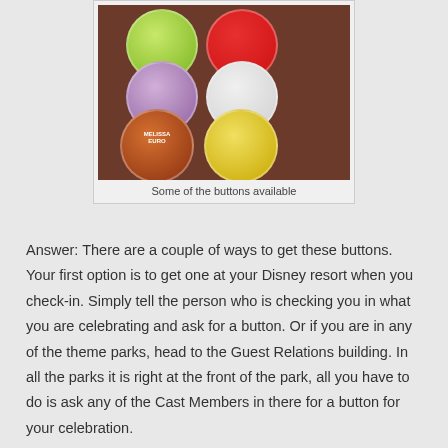[Figure (photo): Photo of various Disney celebration buttons/pins laid out on a wooden table surface]
Some of the buttons available
Answer: There are a couple of ways to get these buttons. Your first option is to get one at your Disney resort when you check-in. Simply tell the person who is checking you in what you are celebrating and ask for a button. Or if you are in any of the theme parks, head to the Guest Relations building. In all the parks it is right at the front of the park, all you have to do is ask any of the Cast Members in there for a button for your celebration.